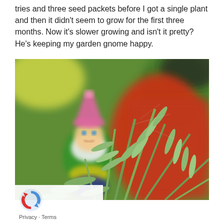tries and three seed packets before I got a single plant and then it didn't seem to grow for the first three months. Now it's slower growing and isn't it pretty? He's keeping my garden gnome happy.
[Figure (photo): Close-up photo of a lavender plant with narrow silvery-green leaves in the foreground, with a smiling garden gnome figurine (pink hat, green jacket, white beard) blurred in the background, sitting in a red pot. Colorful bokeh background.]
Privacy · Terms